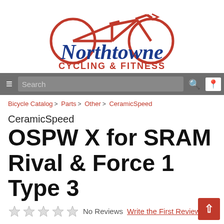[Figure (logo): Northtowne Cycling & Fitness logo with red bicycle graphic above blue and red text]
≡  Search 🔍 📍
Bicycle Catalog > Parts > Other > CeramicSpeed
CeramicSpeed
OSPW X for SRAM Rival & Force 1 Type 3
No Reviews  Write the First Review